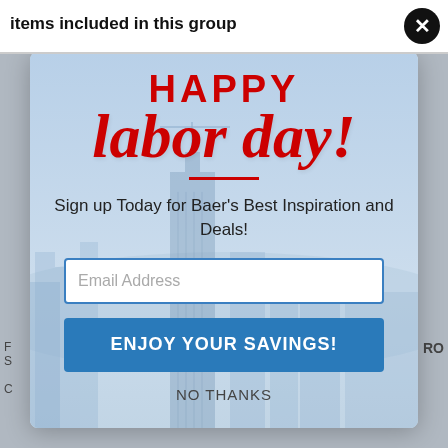items included in this group
[Figure (screenshot): Labor Day promotional popup modal with red 'HAPPY labor day!' text, city skyline background, email signup field, 'ENJOY YOUR SAVINGS!' button, and 'NO THANKS' link]
HAPPY
labor day!
Sign up Today for Baer's Best Inspiration and Deals!
Email Address
ENJOY YOUR SAVINGS!
NO THANKS